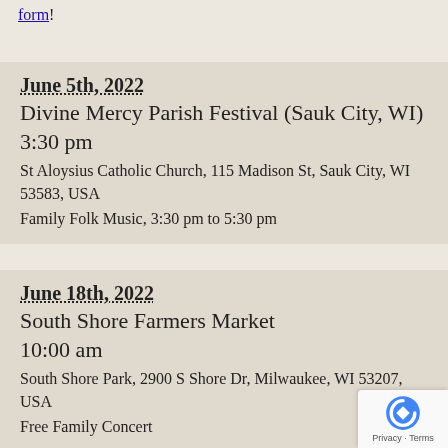form!
June 5th, 2022
Divine Mercy Parish Festival (Sauk City, WI)
3:30 pm
St Aloysius Catholic Church, 115 Madison St, Sauk City, WI 53583, USA
Family Folk Music, 3:30 pm to 5:30 pm
June 18th, 2022
South Shore Farmers Market
10:00 am
South Shore Park, 2900 S Shore Dr, Milwaukee, WI 53207, USA
Free Family Concert